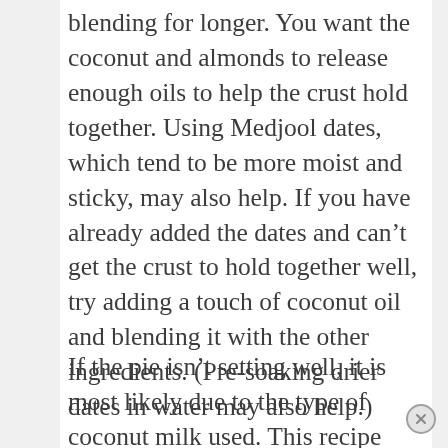blending for longer. You want the coconut and almonds to release enough oils to help the crust hold together. Using Medjool dates, which tend to be more moist and sticky, may also help. If you have already added the dates and can't get the crust to hold together well, try adding a touch of coconut oil and blending it with the other ingredients. (Pre-soaking drier dates in water may also help.)
If the pie isn't setting well, it is most likely due to the type of coconut milk used. This recipe uses a combination of the thick coconut cream from the can and the gelatin to give the pie a creamy, thick